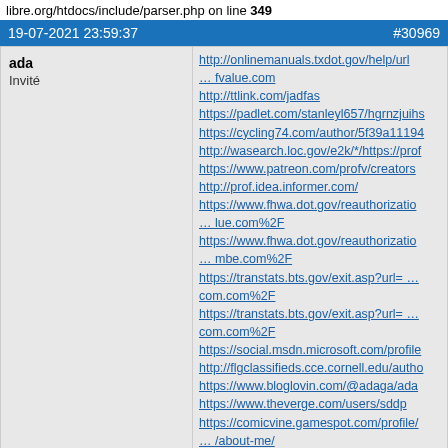libre.org/htdocs/include/parser.php on line 349
19-07-2021 23:59:37   #30969
ada
Invité
http://onlinemanuals.txdot.gov/help/url
… fvalue.com
http://ttlink.com/jadfas
https://padlet.com/stanleyl657/hgrnzjuihs
https://cycling74.com/author/5f39a11194
http://wasearch.loc.gov/e2k/*/https://prof
https://www.patreon.com/profv/creators
http://prof.idea.informer.com/
https://www.fhwa.dot.gov/reauthorizatio
… lue.com%2F
https://www.fhwa.dot.gov/reauthorizatio
… mbe.com%2F
https://transtats.bts.gov/exit.asp?url= …
com.com%2F
https://transtats.bts.gov/exit.asp?url= …
com.com%2F
https://social.msdn.microsoft.com/profile
http://flgclassifieds.cce.cornell.edu/autho
https://www.bloglovin.com/@adaga/ada
https://www.theverge.com/users/sddp
https://comicvine.gamespot.com/profile/
… /about-me/
https://site-2476938-7182-7728.mystrikingly.com/
http://search.bt.com/result?p=optimbe
https://www.justgiving.com/crowdfunding asad